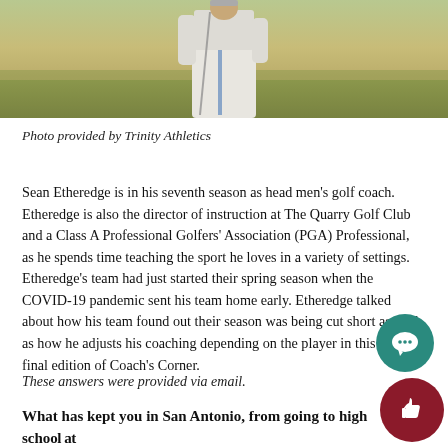[Figure (photo): Photo of a golfer in white pants and shirt holding a golf club, outdoor background with grass and blurred greenery]
Photo provided by Trinity Athletics
Sean Etheredge is in his seventh season as head men's golf coach. Etheredge is also the director of instruction at The Quarry Golf Club and a Class A Professional Golfers' Association (PGA) Professional, as he spends time teaching the sport he loves in a variety of settings. Etheredge's team had just started their spring season when the COVID-19 pandemic sent his team home early. Etheredge talked about how his team found out their season was being cut short as well as how he adjusts his coaching depending on the player in this year's final edition of Coach's Corner.
These answers were provided via email.
What has kept you in San Antonio, from going to high school at Alamo Heights through college at UTSA and now into your